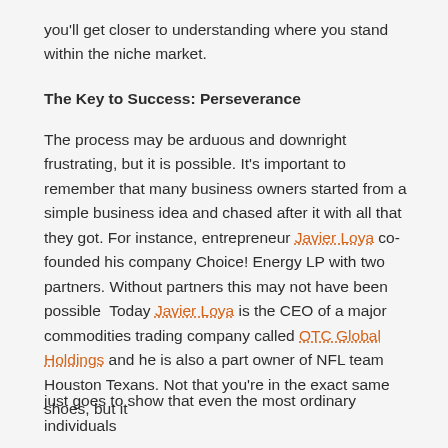you'll get closer to understanding where you stand within the niche market.
The Key to Success: Perseverance
The process may be arduous and downright frustrating, but it is possible. It's important to remember that many business owners started from a simple business idea and chased after it with all that they got. For instance, entrepreneur Javier Loya co-founded his company Choice! Energy LP with two partners. Without partners this may not have been possible  Today Javier Loya is the CEO of a major commodities trading company called OTC Global Holdings and he is also a part owner of NFL team Houston Texans. Not that you're in the exact same shoes, but it
just goes to show that even the most ordinary individuals